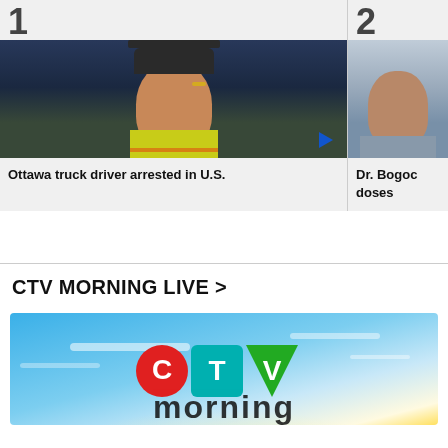[Figure (screenshot): Thumbnail image #1: man in yellow vest and dark cap with headset inside a truck cab, labeled with rank number 1]
Ottawa truck driver arrested in U.S.
[Figure (screenshot): Thumbnail image #2: man in plaid shirt, partially visible, labeled with rank number 2]
Dr. Bogoc doses
CTV MORNING LIVE >
[Figure (logo): CTV Morning Live logo with colorful CTV letters on a blue and yellow sky background, with text 'morning' partially visible]